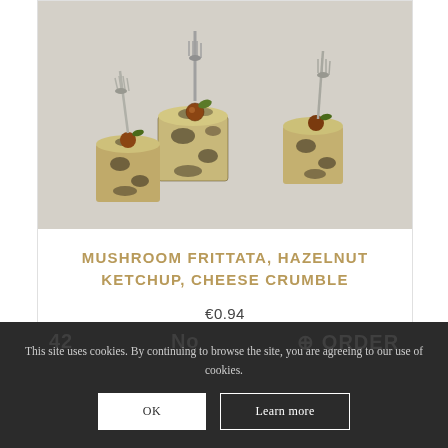[Figure (photo): Three cube-shaped mushroom frittata bites garnished with small round hazelnuts and green herbs, each with a silver fork inserted on top, arranged on a light grey surface.]
MUSHROOM FRITTATA, HAZELNUT KETCHUP, CHEESE CRUMBLE
€0.94
This site uses cookies. By continuing to browse the site, you are agreeing to our use of cookies.
OK
Learn more